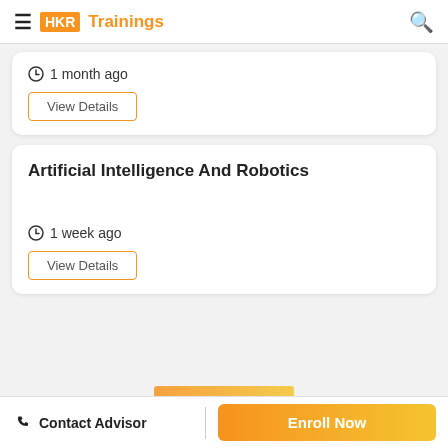HKR Trainings
1 month ago
View Details
Artificial Intelligence And Robotics
1 week ago
View Details
Contact Advisor | Enroll Now